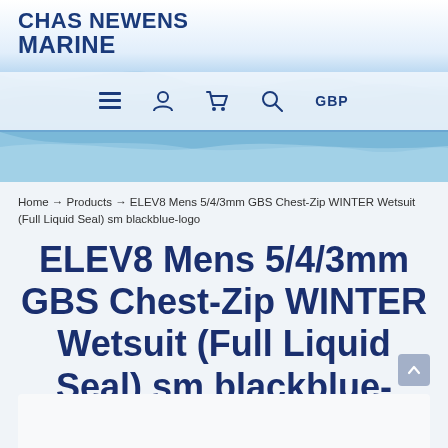[Figure (screenshot): Chas Newens Marine website header with water background]
CHAS NEWENS MARINE
[Figure (infographic): Navigation bar with hamburger menu, user, cart, search icons and GBP currency label]
Home → Products → ELEV8 Mens 5/4/3mm GBS Chest-Zip WINTER Wetsuit (Full Liquid Seal) sm blackblue-logo
ELEV8 Mens 5/4/3mm GBS Chest-Zip WINTER Wetsuit (Full Liquid Seal) sm blackblue-logo